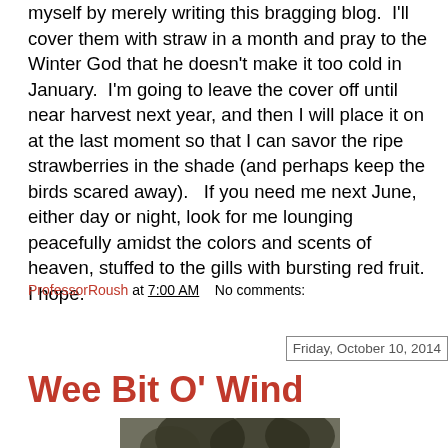myself by merely writing this bragging blog.  I'll cover them with straw in a month and pray to the Winter God that he doesn't make it too cold in January.  I'm going to leave the cover off until near harvest next year, and then I will place it on at the last moment so that I can savor the ripe strawberries in the shade (and perhaps keep the birds scared away).   If you need me next June, either day or night, look for me lounging peacefully amidst the colors and scents of heaven, stuffed to the gills with bursting red fruit.  I hope.
ProfessorRoush at 7:00 AM    No comments:
Share
Friday, October 10, 2014
Wee Bit O' Wind
[Figure (photo): Partial photo of trees, black and white or sepia toned, visible at the bottom of the page]